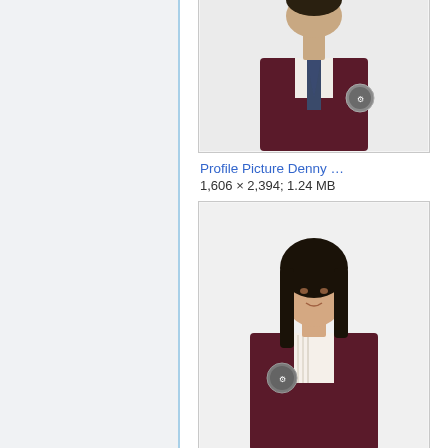[Figure (photo): Profile photo of a male student in dark maroon university blazer with emblem, tie, cropped at top]
Profile Picture Denny …
1,606 × 2,394; 1.24 MB
[Figure (photo): Profile photo of a female student with black hair in dark maroon university blazer with emblem]
Profile Picture Desak …
1,606 × 2,394; 1.62 MB
[Figure (photo): Profile photo of a female student with glasses and long brown hair in dark maroon university blazer, partially cropped at bottom]